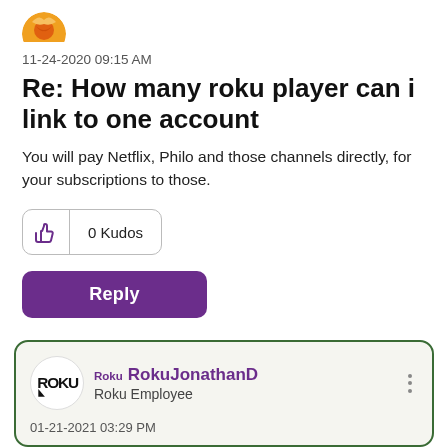[Figure (illustration): Partial avatar icon with orange/red gradient colors, circular shape, partially cropped at top]
11-24-2020 09:15 AM
Re: How many roku player can i link to one account
You will pay Netflix, Philo and those channels directly, for your subscriptions to those.
[Figure (infographic): Kudos button with thumbs up icon and text '0 Kudos']
[Figure (infographic): Purple Reply button]
[Figure (infographic): Roku logo circle avatar for RokuJonathanD]
Roku RokuJonathanD
Roku Employee
01-21-2021 03:29 PM